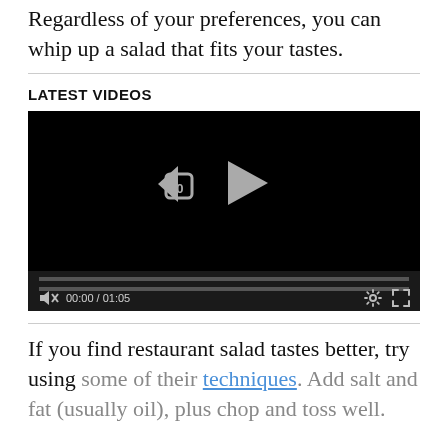Regardless of your preferences, you can whip up a salad that fits your tastes.
LATEST VIDEOS
[Figure (screenshot): A video player showing a black screen with a rewind-10 button and a play button in the center. A progress bar is visible near the bottom, along with a muted speaker icon, time display '00:00 / 01:05', a settings gear icon, and a fullscreen expand icon.]
If you find restaurant salad tastes better, try using some of their techniques. Add salt and fat (usually oil), plus chop and toss well.